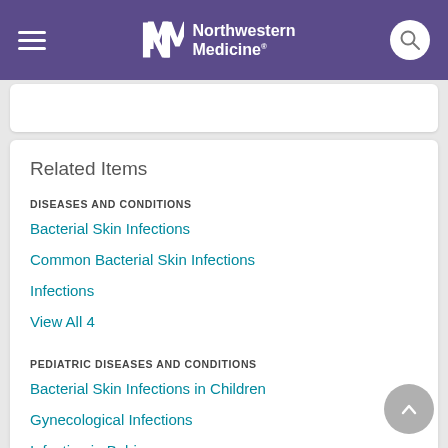Northwestern Medicine
Related Items
DISEASES AND CONDITIONS
Bacterial Skin Infections
Common Bacterial Skin Infections
Infections
View All 4
PEDIATRIC DISEASES AND CONDITIONS
Bacterial Skin Infections in Children
Gynecological Infections
Infection in Babies